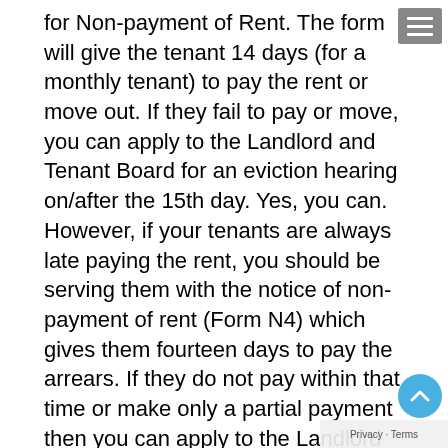for Non-payment of Rent. The form will give the tenant 14 days (for a monthly tenant) to pay the rent or move out. If they fail to pay or move, you can apply to the Landlord and Tenant Board for an eviction hearing on/after the 15th day. Yes, you can. However, if your tenants are always late paying the rent, you should be serving them with the notice of non-payment of rent (Form N4) which gives them fourteen days to pay the arrears. If they do not pay within that time or make only a partial payment then you can apply to the Landlord and Tenant Board after the fourteen days are up. However, if they do pay up you will have to wait until the next time they are late and serve the N4 again http://www.bynumbuilds.com/?p=5412 Virginia favors custody and visitation arrangements that keep both parents involved in the lives of their